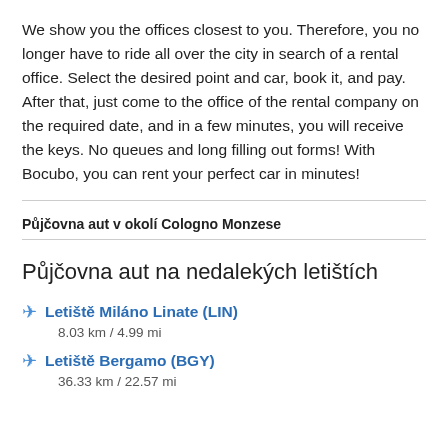We show you the offices closest to you. Therefore, you no longer have to ride all over the city in search of a rental office. Select the desired point and car, book it, and pay. After that, just come to the office of the rental company on the required date, and in a few minutes, you will receive the keys. No queues and long filling out forms! With Bocubo, you can rent your perfect car in minutes!
Půjčovna aut v okolí Cologno Monzese
Půjčovna aut na nedalekých letištích
✈ Letiště Miláno Linate (LIN)
8.03 km / 4.99 mi
✈ Letiště Bergamo (BGY)
36.33 km / 22.57 mi